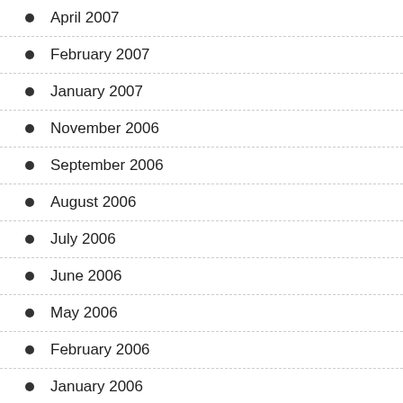April 2007
February 2007
January 2007
November 2006
September 2006
August 2006
July 2006
June 2006
May 2006
February 2006
January 2006